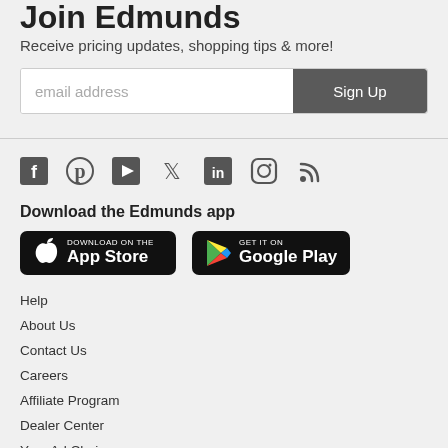Join Edmunds
Receive pricing updates, shopping tips & more!
email address  Sign Up
[Figure (infographic): Social media icons: Facebook, Pinterest, YouTube, Twitter, LinkedIn, Instagram, RSS]
Download the Edmunds app
[Figure (infographic): Download on the App Store button (black, with Apple logo)]
[Figure (infographic): Get it on Google Play button (black, with Google Play triangle logo)]
Help
About Us
Contact Us
Careers
Affiliate Program
Dealer Center
Your Ad Choices